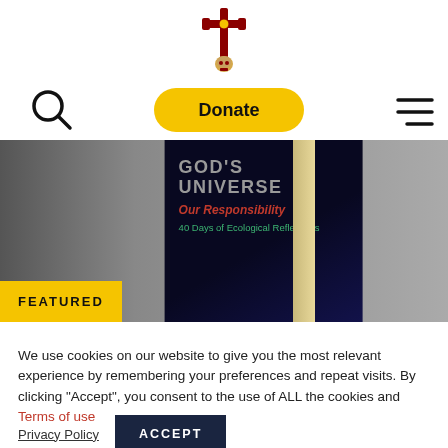[Figure (logo): Religious cross with skull symbol in dark red/gold]
[Figure (other): Yellow Donate button with search icon on left and hamburger menu on right]
[Figure (photo): Book cover: GOD'S UNIVERSE Our Responsibility — 40 Days of Ecological Reflections on dark blue starfield background, with FEATURED badge]
We use cookies on our website to give you the most relevant experience by remembering your preferences and repeat visits. By clicking “Accept”, you consent to the use of ALL the cookies and Terms of use
Privacy Policy
ACCEPT